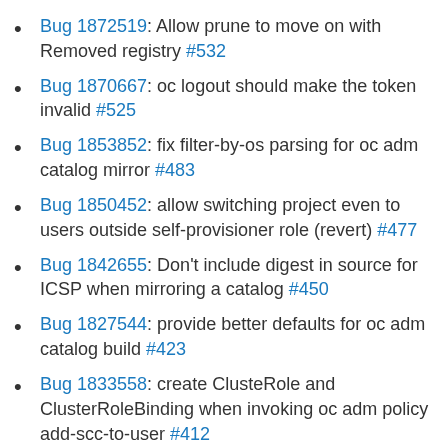Bug 1872519: Allow prune to move on with Removed registry #532
Bug 1870667: oc logout should make the token invalid #525
Bug 1853852: fix filter-by-os parsing for oc adm catalog mirror #483
Bug 1850452: allow switching project even to users outside self-provisioner role (revert) #477
Bug 1842655: Don't include digest in source for ICSP when mirroring a catalog #450
Bug 1827544: provide better defaults for oc adm catalog build #423
Bug 1833558: create ClusteRole and ClusterRoleBinding when invoking oc adm policy add-scc-to-user #412
Bug 1829832: support mirroring for index images #438
Bug 1838934: Fix new-app producing deployment that trigger twice after creation #437